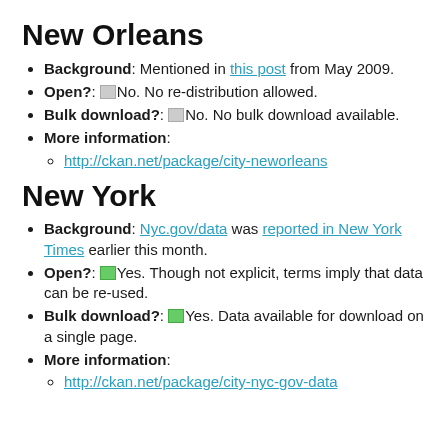New Orleans
Background: Mentioned in this post from May 2009.
Open?: No. No re-distribution allowed.
Bulk download?: No. No bulk download available.
More information:
http://ckan.net/package/city-neworleans
New York
Background: Nyc.gov/data was reported in New York Times earlier this month.
Open?: Yes. Though not explicit, terms imply that data can be re-used.
Bulk download?: Yes. Data available for download on a single page.
More information:
http://ckan.net/package/city-nyc-gov-data